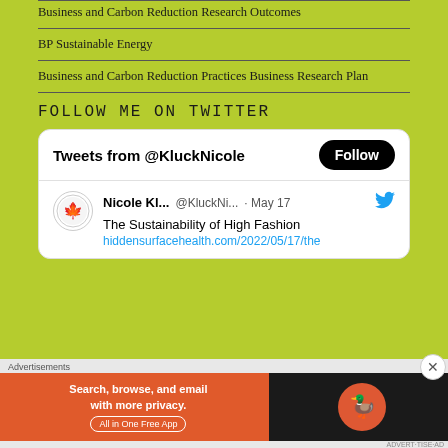Business and Carbon Reduction Research Outcomes
BP Sustainable Energy
Business and Carbon Reduction Practices Business Research Plan
FOLLOW ME ON TWITTER
[Figure (screenshot): Twitter widget showing Tweets from @KluckNicole with a Follow button, and a tweet by Nicole Kl... @KluckNi... May 17 saying 'The Sustainability of High Fashion hiddensurfacehealth.com/2022/05/17/the']
Advertisements
[Figure (screenshot): DuckDuckGo advertisement banner: 'Search, browse, and email with more privacy. All in One Free App']